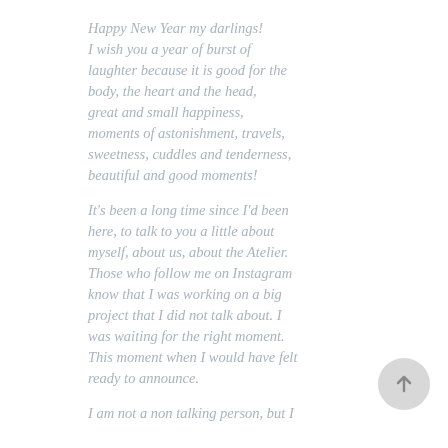Happy New Year my darlings! I wish you a year of burst of laughter because it is good for the body, the heart and the head, great and small happiness, moments of astonishment, travels, sweetness, cuddles and tenderness, beautiful and good moments!
It's been a long time since I'd been here, to talk to you a little about myself, about us, about the Atelier. Those who follow me on Instagram know that I was working on a big project that I did not talk about. I was waiting for the right moment. This moment when I would have felt ready to announce.
I am not a non talking person, but I